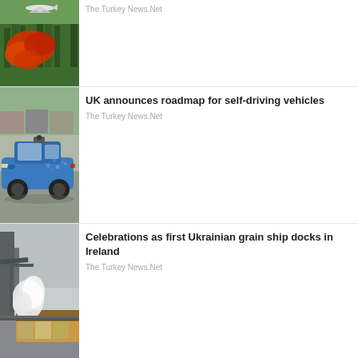[Figure (photo): Aerial firefighting tanker plane dropping red fire retardant over a forested hillside]
The Turkey News.Net
[Figure (photo): Blue Ford self-driving autonomous vehicle with sensor equipment on rooftop, parked in a lot]
UK announces roadmap for self-driving vehicles
The Turkey News.Net
[Figure (photo): Ukrainian grain ship docked at port with loading equipment visible, grain being loaded]
Celebrations as first Ukrainian grain ship docks in Ireland
The Turkey News.Net